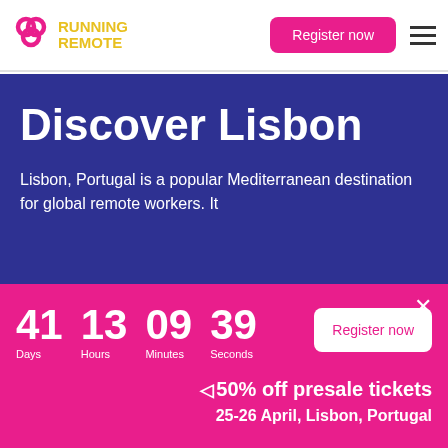[Figure (logo): Running Remote logo with pink trefoil icon and yellow text 'RUNNING REMOTE']
Register now
Discover Lisbon
Lisbon, Portugal is a popular Mediterranean destination for global remote workers. It
41 Days  13 Hours  09 Minutes  39 Seconds
Register now
◁50% off presale tickets
25-26 April, Lisbon, Portugal